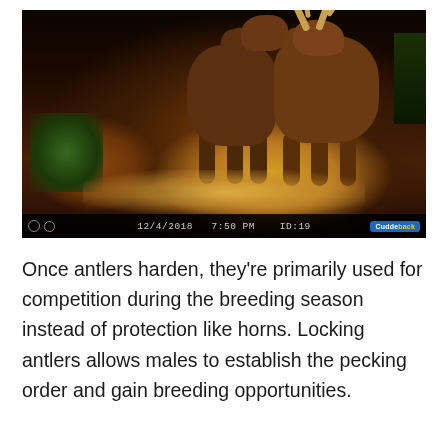[Figure (photo): Night trail camera photo showing two deer locking antlers in a clearing. The image has a dark background with orange/warm ground illumination from the camera flash. A timestamp bar at the bottom shows 12/4/2018  7:50 PM  ID:19 and a Cuddeback camera logo.]
Once antlers harden, they're primarily used for competition during the breeding season instead of protection like horns. Locking antlers allows males to establish the pecking order and gain breeding opportunities.